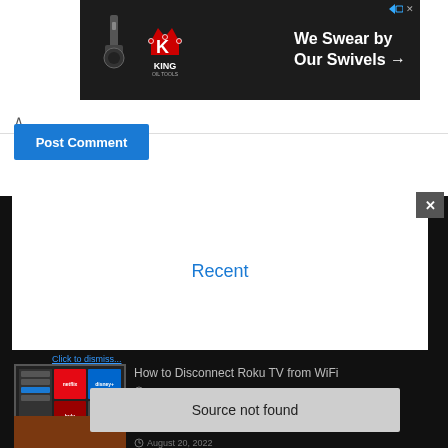[Figure (screenshot): Advertisement banner for King Oil Tools: 'We Swear by Our Swivels →' with king crown logo on dark background]
^
Post Comment
Recent
How to Disconnect Roku TV from WiFi
August 20, 2022
Source not found
How to Reset Google Home Mini & Nest Mini
August 20, 2022